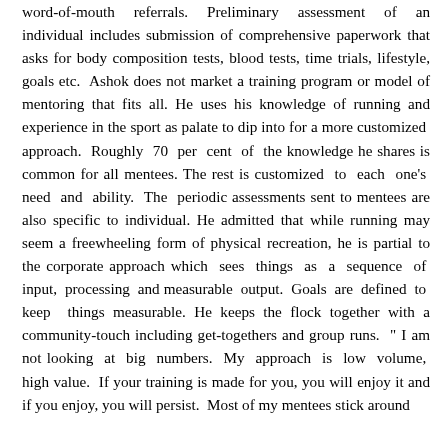word-of-mouth referrals. Preliminary assessment of an individual includes submission of comprehensive paperwork that asks for body composition tests, blood tests, time trials, lifestyle, goals etc. Ashok does not market a training program or model of mentoring that fits all. He uses his knowledge of running and experience in the sport as palate to dip into for a more customized approach. Roughly 70 per cent of the knowledge he shares is common for all mentees. The rest is customized to each one's need and ability. The periodic assessments sent to mentees are also specific to individual. He admitted that while running may seem a freewheeling form of physical recreation, he is partial to the corporate approach which sees things as a sequence of input, processing and measurable output. Goals are defined to keep things measurable. He keeps the flock together with a community-touch including get-togethers and group runs. " I am not looking at big numbers. My approach is low volume, high value. If your training is made for you, you will enjoy it and if you enjoy, you will persist. Most of my mentees stick around